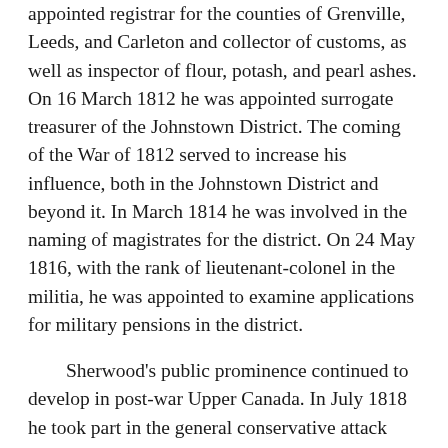appointed registrar for the counties of Grenville, Leeds, and Carleton and collector of customs, as well as inspector of flour, potash, and pearl ashes. On 16 March 1812 he was appointed surrogate treasurer of the Johnstown District. The coming of the War of 1812 served to increase his influence, both in the Johnstown District and beyond it. In March 1814 he was involved in the naming of magistrates for the district. On 24 May 1816, with the rank of lieutenant-colonel in the militia, he was appointed to examine applications for military pensions in the district.
Sherwood's public prominence continued to develop in post-war Upper Canada. In July 1818 he took part in the general conservative attack against Robert Gourlay*, who was gathering information about the province's condition. In October Sherwood was in York (Toronto) where he successfully defended two of Cuthbert Grant*'s party of Métis, Paul Brown and François-Firmin Boucher, against charges in connection with the murder of